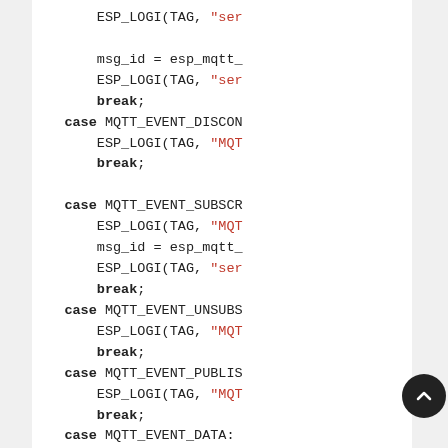[Figure (screenshot): Code snippet showing C code for MQTT event handler with case statements: MQTT_EVENT_DISCONNECTED, MQTT_EVENT_SUBSCRIBED, MQTT_EVENT_UNSUBSCRIBED, MQTT_EVENT_PUBLISHED, MQTT_EVENT_DATA. Each case contains ESP_LOGI calls and break statements.]